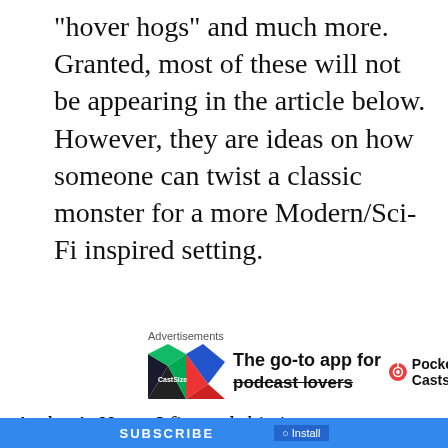“hover hogs” and much more. Granted, most of these will not be appearing in the article below. However, they are ideas on how someone can twist a classic monster for a more Modern/Sci-Fi inspired setting.
[Figure (other): Advertisement for Pocket Casts app: colorful logo with the text 'The go-to app for podcast lovers' and the Pocket Casts logo and name.]
Author’s Note: I figured this is a great way to close
Privacy & Cookies: This site uses cookies. By continuing to use this website, you agree to their use.
To find out more, including how to control cookies, see here:
Cookie Policy
Close and accept